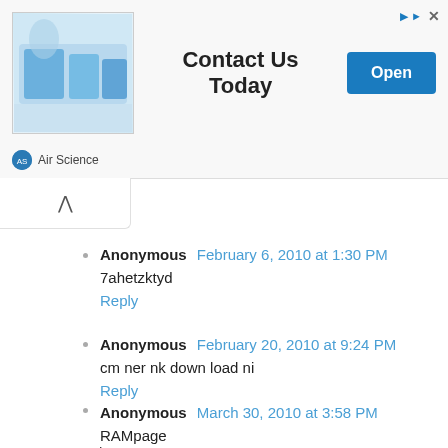[Figure (other): Advertisement banner for Air Science with lab equipment image, 'Contact Us Today' text, and Open button]
Anonymous  February 6, 2010 at 1:30 PM
7ahetzktyd
Reply
Anonymous  February 20, 2010 at 9:24 PM
cm ner nk down load ni
Reply
Anonymous  March 30, 2010 at 3:58 PM
RAMpage
\